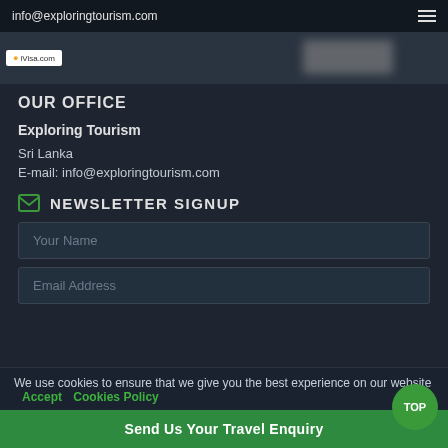info@exploringtourism.com
[Figure (screenshot): Banner image with iVisa.com logo on dark background]
OUR OFFICE
Exploring Tourism
Sri Lanka
E-mail: info@exploringtourism.com
NEWSLETTER SIGNUP
Your Name
Email Address
We use cookies to ensure that we give you the best experience on our website  Accept    Cookies Policy
Send Us Your Travel Enquiry